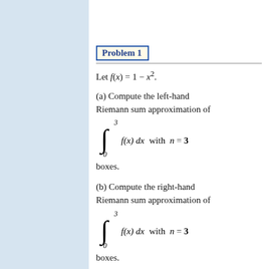Problem 1
Let f(x) = 1 − x².
(a) Compute the left-hand Riemann sum approximation of ∫₀³ f(x) dx with n = 3 boxes.
(b) Compute the right-hand Riemann sum approximation of ∫₀³ f(x) dx with n = 3 boxes.
(c) Express ∫₀³ f(x) dx as a